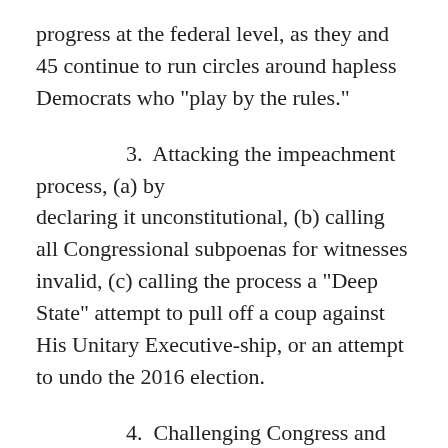progress at the federal level, as they and 45 continue to run circles around hapless Democrats who "play by the rules."
3.  Attacking the impeachment process, (a) by declaring it unconstitutional, (b) calling all Congressional subpoenas for witnesses invalid, (c) calling the process a "Deep State" attempt to pull off a coup against His Unitary Executive-ship, or an attempt to undo the 2016 election.
4.  Challenging Congress and the Supreme Court to unseat him.  Both the Supreme Court, and the Senate that would try Prez 45 are in sympathetic Republican hands (that's another issue – how to eliminate politics from judicial nominations & appointments?).